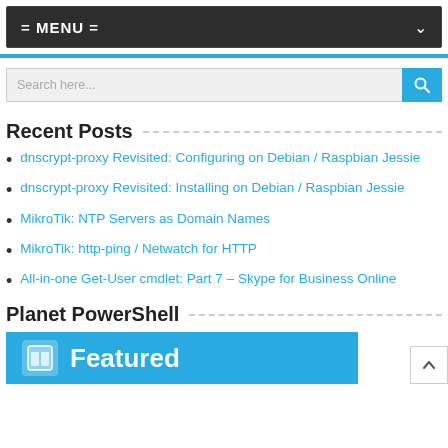= MENU =
Recent Posts
dnscrypt-proxy Revisited: Configuring on Debian / Raspbian Jessie
dnscrypt-proxy Revisited: Installing on Debian / Raspbian Jessie
MikroTik: NTP Servers as Domain Names
MikroTik: http-ping / Netwatch for HTTP
All-in-one Get-User cmdlet: Part 7 – Skype for Business Online
Planet PowerShell
[Figure (screenshot): Featured banner image with blue background and 'Featured' text]